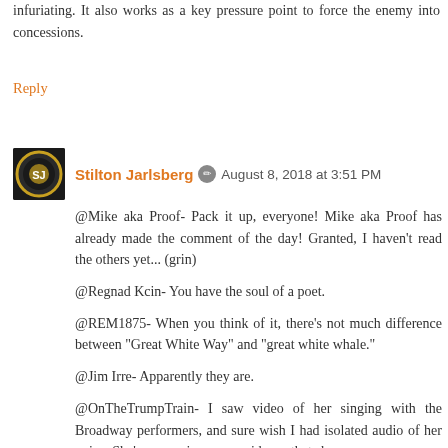infuriating. It also works as a key pressure point to force the enemy into concessions.
Reply
Stilton Jarlsberg  ✏  August 8, 2018 at 3:51 PM
@Mike aka Proof- Pack it up, everyone! Mike aka Proof has already made the comment of the day! Granted, I haven't read the others yet... (grin)

@Regnad Kcin- You have the soul of a poet.

@REM1875- When you think of it, there's not much difference between "Great White Way" and "great white whale."

@Jim Irre- Apparently they are.

@OnTheTrumpTrain- I saw video of her singing with the Broadway performers, and sure wish I had isolated audio of her voice. She's never given any evidence that she can